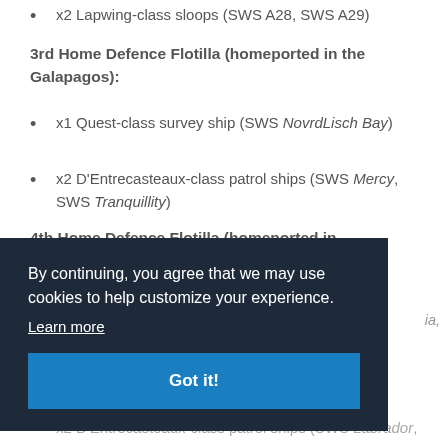x2 Lapwing-class sloops (SWS A28, SWS A29)
3rd Home Defence Flotilla (homeported in the Galapagos):
x1 Quest-class survey ship (SWS NovrdLisch Bay)
x2 D'Entrecasteaux-class patrol ships (SWS Mercy, SWS Tranquillity)
4th Home Defence Flotilla (homeported in
[Figure (screenshot): Cookie consent banner overlay with dark navy background. Text reads: 'By continuing, you agree that we may use cookies to help customize your experience.' with a 'Learn more' link and a blue 'Got it!' button.]
x2 D'Entrecasteaux-class patrol ships (SWS Labrador,